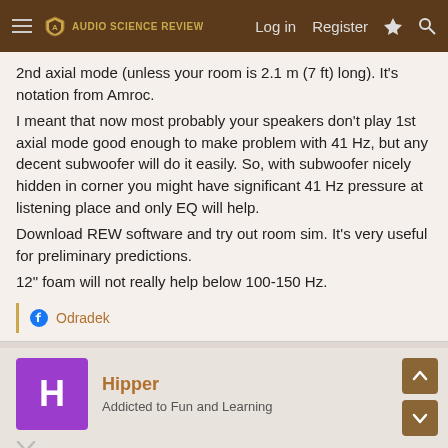Audio Science Review — Log in  Register
2nd axial mode (unless your room is 2.1 m (7 ft) long). It's notation from Amroc.
I meant that now most probably your speakers don't play 1st axial mode good enough to make problem with 41 Hz, but any decent subwoofer will do it easily. So, with subwoofer nicely hidden in corner you might have significant 41 Hz pressure at listening place and only EQ will help.
Download REW software and try out room sim. It's very useful for preliminary predictions.
12" foam will not really help below 100-150 Hz.
Odradek
Hipper
Addicted to Fun and Learning
Aug 4, 2021
The Amroc site will explain a lot of this: